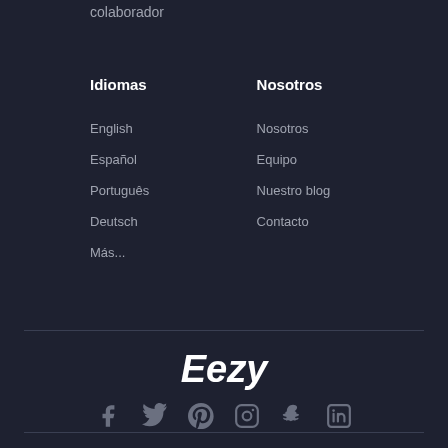colaborador
Idiomas
Nosotros
English
Nosotros
Español
Equipo
Português
Nuestro blog
Deutsch
Contacto
Más...
Eezy
[Figure (other): Social media icons row: Facebook, Twitter, Pinterest, Instagram, Snapchat, LinkedIn]